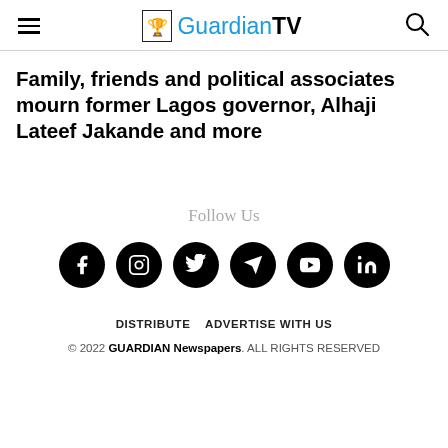GuardianTV
Family, friends and political associates mourn former Lagos governor, Alhaji Lateef Jakande and more
Follow Us
[Figure (infographic): Row of 6 social media icons (Facebook, Instagram, Twitter, Telegram, YouTube, LinkedIn) as black circles with white logos]
DISTRIBUTE   ADVERTISE WITH US
© 2022 GUARDIAN Newspapers. ALL RIGHTS RESERVED